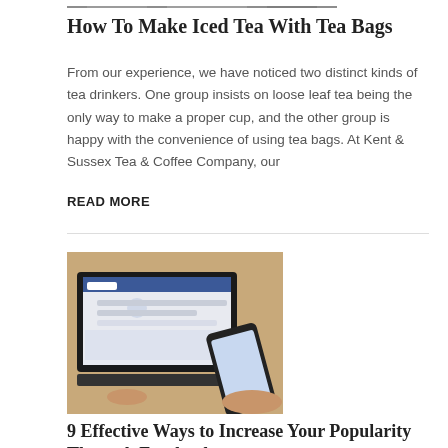[Figure (photo): Top portion of a photo visible at the top of the page (cropped, showing textured surface)]
How To Make Iced Tea With Tea Bags
From our experience, we have noticed two distinct kinds of tea drinkers. One group insists on loose leaf tea being the only way to make a proper cup, and the other group is happy with the convenience of using tea bags. At Kent & Sussex Tea & Coffee Company, our
READ MORE
[Figure (photo): Person using a laptop showing a Facebook page while holding a smartphone.]
9 Effective Ways to Increase Your Popularity Through Facebook